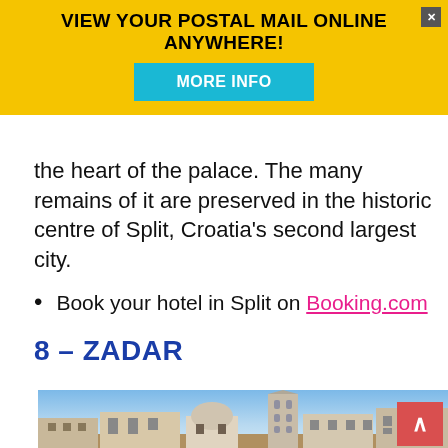[Figure (infographic): Yellow advertisement banner: 'VIEW YOUR POSTAL MAIL ONLINE ANYWHERE!' with a cyan 'MORE INFO' button and a close X button]
the heart of the palace. The many remains of it are preserved in the historic centre of Split, Croatia's second largest city.
Book your hotel in Split on Booking.com
8 – ZADAR
[Figure (photo): Photograph of Zadar old city skyline showing historic church buildings and a tall bell tower against a blue sky at dusk.]